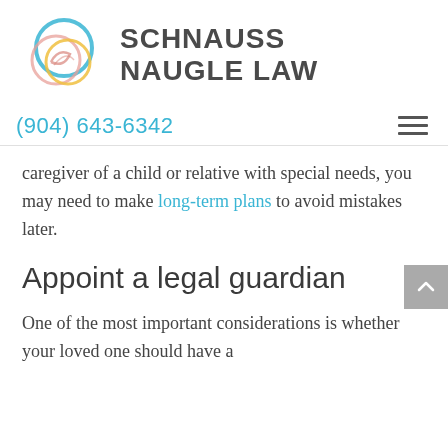[Figure (logo): Schnauss Naugle Law logo with overlapping colored circles (teal, pink/salmon, yellow) and firm name text]
(904) 643-6342
caregiver of a child or relative with special needs, you may need to make long-term plans to avoid mistakes later.
Appoint a legal guardian
One of the most important considerations is whether your loved one should have a guardian. If youarthinkle development. Wh